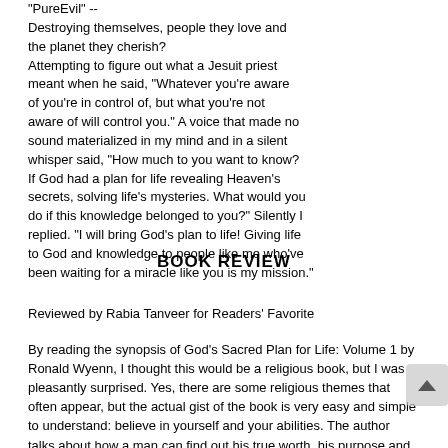"PureEvil" --
Destroying themselves, people they love and the planet they cherish?
Attempting to figure out what a Jesuit priest meant when he said, "Whatever you're aware of you're in control of, but what you're not aware of will control you." A voice that made no sound materialized in my mind and in a silent whisper said, "How much to you want to know? If God had a plan for life revealing Heaven's secrets, solving life's mysteries. What would you do if this knowledge belonged to you?" Silently I replied. "I will bring God's plan to life! Giving life to God and knowledge to people like me who've been waiting for a miracle like you is my mission."
BOOK REVIEW
Reviewed by Rabia Tanveer for Readers' Favorite
By reading the synopsis of God's Sacred Plan for Life: Volume 1 by Ronald Wyenn, I thought this would be a religious book, but I was pleasantly surprised. Yes, there are some religious themes that often appear, but the actual gist of the book is very easy and simple to understand: believe in yourself and your abilities. The author talks about how a man can find out his true worth, his purpose and find himself if